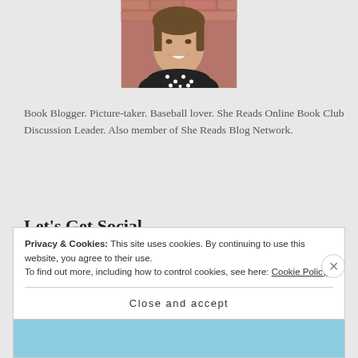[Figure (photo): Headshot photo of a smiling woman with brown hair, wearing a black and white polka dot top, in front of a brick wall background.]
Book Blogger. Picture-taker. Baseball lover. She Reads Online Book Club Discussion Leader. Also member of She Reads Blog Network.
Let's Get Social
[Figure (other): Social media icons: Facebook, Twitter, Instagram, Pinterest]
Privacy & Cookies: This site uses cookies. By continuing to use this website, you agree to their use.
To find out more, including how to control cookies, see here: Cookie Policy
Close and accept